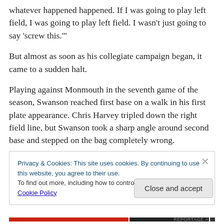whatever happened happened. If I was going to play left field, I was going to play left field. I wasn't just going to say 'screw this.'
But almost as soon as his collegiate campaign began, it came to a sudden halt.
Playing against Monmouth in the seventh game of the season, Swanson reached first base on a walk in his first plate appearance. Chris Harvey tripled down the right field line, but Swanson took a sharp angle around second base and stepped on the bag completely wrong.
Privacy & Cookies: This site uses cookies. By continuing to use this website, you agree to their use.
To find out more, including how to control cookies, see here: Cookie Policy